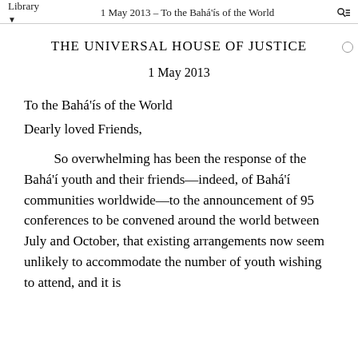Library | 1 May 2013 – To the Bahá'ís of the World
THE UNIVERSAL HOUSE OF JUSTICE
1 May 2013
To the Bahá'ís of the World
Dearly loved Friends,
So overwhelming has been the response of the Bahá'í youth and their friends—indeed, of Bahá'í communities worldwide—to the announcement of 95 conferences to be convened around the world between July and October, that existing arrangements now seem unlikely to accommodate the number of youth wishing to attend, and it is